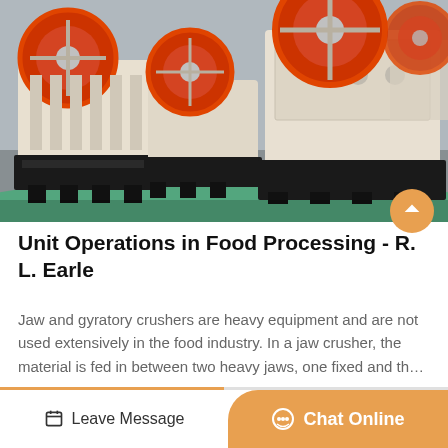[Figure (photo): Industrial jaw crushers (heavy white and black machinery with large red/orange flywheels) on a factory floor with green painted floor.]
Unit Operations in Food Processing - R. L. Earle
Jaw and gyratory crushers are heavy equipment and are not used extensively in the food industry. In a jaw crusher, the material is fed in between two heavy jaws, one fixed and th…
Leave Message   Chat Online